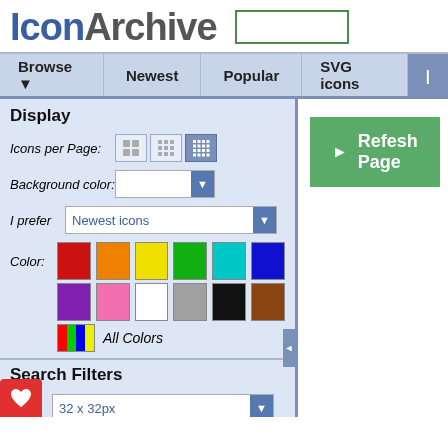[Figure (logo): IconArchive logo with blue 'Icon' and gray 'Archive' text, plus a search box with green border]
Browse ▼  Newest  Popular  SVG icons
Display
Icons per Page: [grid buttons]
Background color: [dropdown]
I prefer  Newest icons [dropdown]
Color: [color swatches: red, orange, yellow, green, cyan, blue, purple, pink, white, gray, black, brown] All Colors
Search Filters
Size: 32 x 32px [dropdown]
Category: People [dropdown]
Style: Photorealistic [dropdown]
[Figure (screenshot): Green Refresh Page button with play arrow icon]